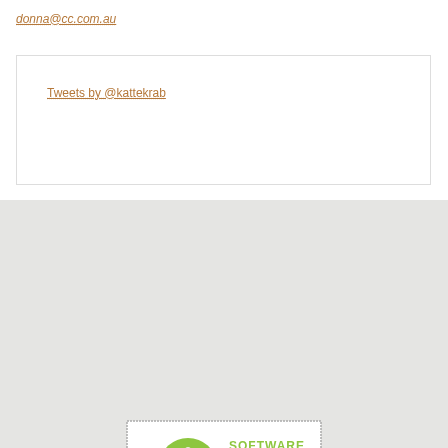donna@cc.com.au
Tweets by @kattekrab
[Figure (logo): Software Freedom Conservancy Supporter logo with green tree graphic]
[Figure (logo): Drupal Association badge/seal logo]